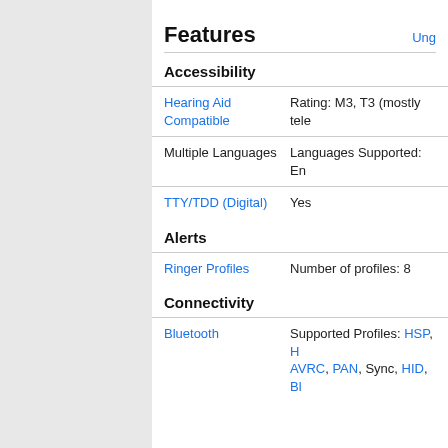Features
Accessibility
| Feature | Details |
| --- | --- |
| Hearing Aid Compatible | Rating: M3, T3 (mostly tele… |
| Multiple Languages | Languages Supported: En… |
| TTY/TDD (Digital) | Yes |
Alerts
| Feature | Details |
| --- | --- |
| Ringer Profiles | Number of profiles: 8 |
Connectivity
| Feature | Details |
| --- | --- |
| Bluetooth | Supported Profiles: HSP, H… AVRC, PAN, Sync, HID, Bl… |